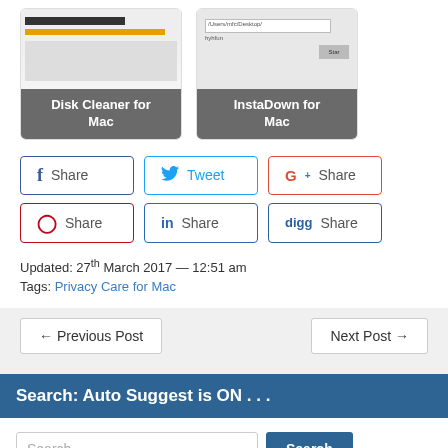[Figure (screenshot): Two app screenshots: Disk Cleaner for Mac and InstaDown for Mac]
f Share | Tweet | G+ Share
Share | in Share | digg Share
Updated: 27th March 2017 — 12:51 am
Tags: Privacy Care for Mac
← Previous Post
Next Post →
Search: Auto Suggest is ON . . .
Search …
Software by Category